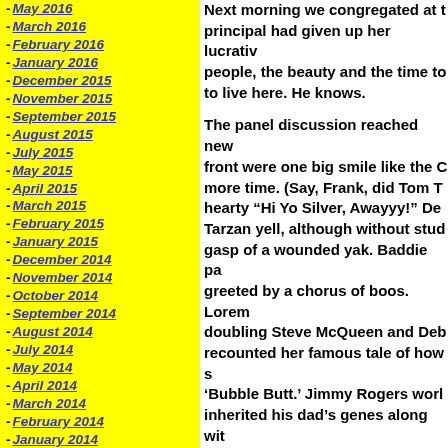- May 2016
- March 2016
- February 2016
- January 2016
- December 2015
- November 2015
- September 2015
- August 2015
- July 2015
- May 2015
- April 2015
- March 2015
- February 2015
- January 2015
- December 2014
- November 2014
- October 2014
- September 2014
- August 2014
- July 2014
- May 2014
- April 2014
- March 2014
- February 2014
- January 2014
- December 2013
Next morning we congregated at the principal had given up her lucrative people, the beauty and the time to to live here. He knows.
The panel discussion reached new front were one big smile like the C more time. (Say, Frank, did Tom T hearty “Hi Yo Silver, Awayyy!” De Tarzan yell, although without stud gasp of a wounded yak. Baddie pa greeted by a chorus of boos. Loren doubling Steve McQueen and Deb recounted her famous tale of how s ‘Bubble Butt.’ Jimmy Rogers wor inherited his dad’s genes along wit Mitchum boy, John, showed a soft poems singing the praises of Amer wanted poster out for Sue Ane Lan
Next morning, a ride into the Alab movies. We breakfasted on cariboo —smacka my lips. It stays with yo official group photo near the eleph Din”. In the P.M. we hopped aboa affable parade. I wore my fringe j